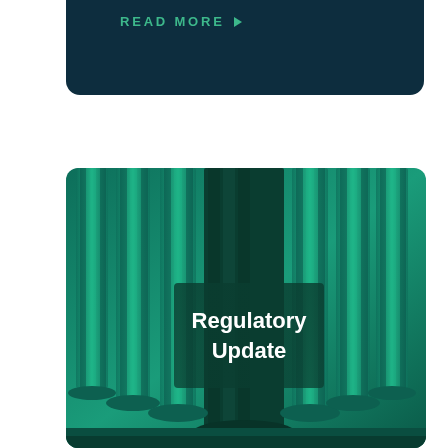READ MORE ▶
[Figure (illustration): Architectural columns rendered in teal/green tones with text overlay reading 'Regulatory Update' in white bold font on a dark semi-transparent background panel]